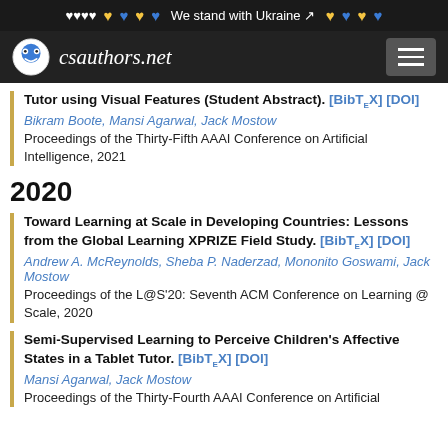We stand with Ukraine
csauthors.net
Tutor using Visual Features (Student Abstract). [BibTeX] [DOI]
Bikram Boote, Mansi Agarwal, Jack Mostow
Proceedings of the Thirty-Fifth AAAI Conference on Artificial Intelligence, 2021
2020
Toward Learning at Scale in Developing Countries: Lessons from the Global Learning XPRIZE Field Study. [BibTeX] [DOI]
Andrew A. McReynolds, Sheba P. Naderzad, Mononito Goswami, Jack Mostow
Proceedings of the L@S'20: Seventh ACM Conference on Learning @ Scale, 2020
Semi-Supervised Learning to Perceive Children's Affective States in a Tablet Tutor. [BibTeX] [DOI]
Mansi Agarwal, Jack Mostow
Proceedings of the Thirty-Fourth AAAI Conference on Artificial